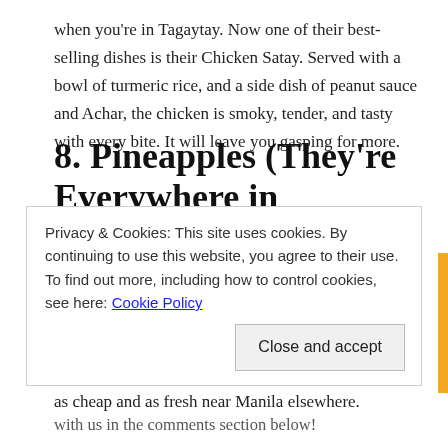when you're in Tagaytay. Now one of their best-selling dishes is their Chicken Satay. Served with a bowl of turmeric rice, and a side dish of peanut sauce and Achar, the chicken is smoky, tender, and tasty with every bite. It will leave you gasping for more.
8. Pineapples (They're Everywhere in Tagaytay)
Lastly, don't leave Tagaytay without having one (or ten) of their pineapples. Due to the fertile volcanic silts in the ridge, the pineapples and other crops that grow there have a higher grade than in most other areas in the Philippines. You'll never find pineapples as cheap and as fresh near Manila elsewhere.
Privacy & Cookies: This site uses cookies. By continuing to use this website, you agree to their use.
To find out more, including how to control cookies, see here: Cookie Policy
Close and accept
with us in the comments section below!